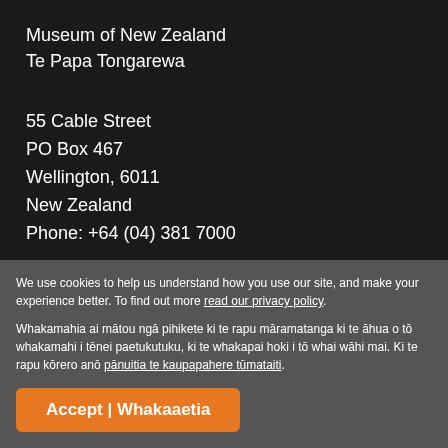Museum of New Zealand
Te Papa Tongarewa
55 Cable Street
PO Box 467
Wellington, 6011
New Zealand
Phone: +64 (04) 381 7000
Contact us
We use cookies to help us understand how you use our site, and make your experience better. To find out more read our privacy policy.
Whakamahia ai mātou ngā pihikete ki te rapu māramatanga ki te āhua o tō whakamahi i tēnei paetukutuku, ki te whakapai hoki i tō whai wāhi mai. Ki te rapu kōrero anō pānuitia te kaupapahere tūmataiti.
Accept | Whakaaetia